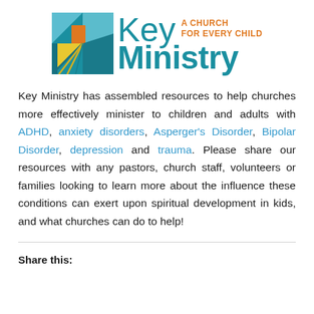[Figure (logo): Key Ministry logo with colorful square icon and text 'Key Ministry — A Church For Every Child']
Key Ministry has assembled resources to help churches more effectively minister to children and adults with ADHD, anxiety disorders, Asperger's Disorder, Bipolar Disorder, depression and trauma. Please share our resources with any pastors, church staff, volunteers or families looking to learn more about the influence these conditions can exert upon spiritual development in kids, and what churches can do to help!
Share this: